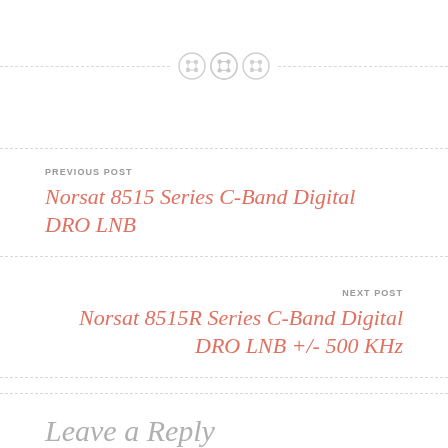[Figure (illustration): Three decorative button icons arranged horizontally with dashed divider lines on either side]
PREVIOUS POST
Norsat 8515 Series C-Band Digital DRO LNB
NEXT POST
Norsat 8515R Series C-Band Digital DRO LNB +/- 500 KHz
Leave a Reply